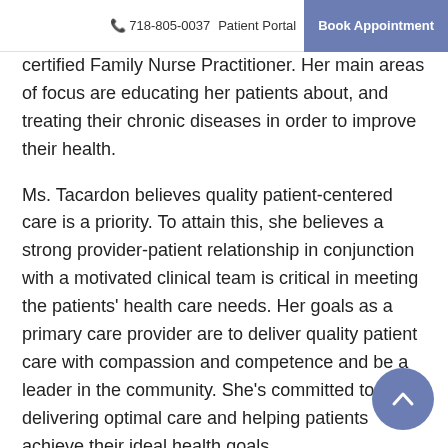718-805-0037 Patient Portal  Book Appointment
certified Family Nurse Practitioner. Her main areas of focus are educating her patients about, and treating their chronic diseases in order to improve their health.
Ms. Tacardon believes quality patient-centered care is a priority. To attain this, she believes a strong provider-patient relationship in conjunction with a motivated clinical team is critical in meeting the patients' health care needs. Her goals as a primary care provider are to deliver quality patient care with compassion and competence and be a leader in the community. She's committed to delivering optimal care and helping patients achieve their ideal health goals.